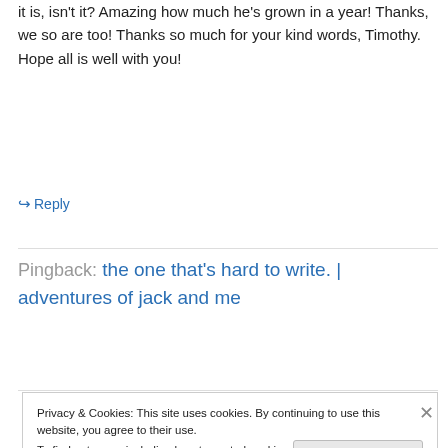it is, isn't it? Amazing how much he's grown in a year! Thanks, we so are too! Thanks so much for your kind words, Timothy. Hope all is well with you!
↳ Reply
Pingback: the one that's hard to write. | adventures of jack and me
Privacy & Cookies: This site uses cookies. By continuing to use this website, you agree to their use.
To find out more, including how to control cookies, see here: Cookie Policy
Close and accept